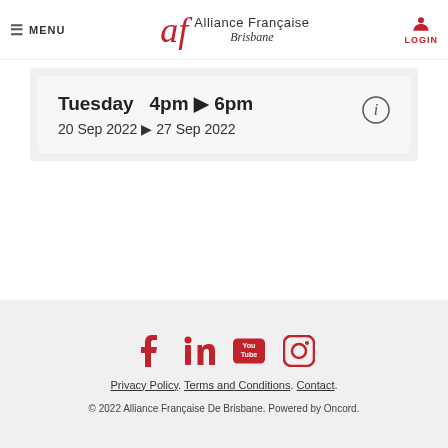MENU | Alliance Française Brisbane | LOGIN
Tuesday  4pm ▶ 6pm
20 Sep 2022 ▶ 27 Sep 2022
Privacy Policy. Terms and Conditions. Contact.
© 2022 Alliance Française De Brisbane. Powered by Oncord.